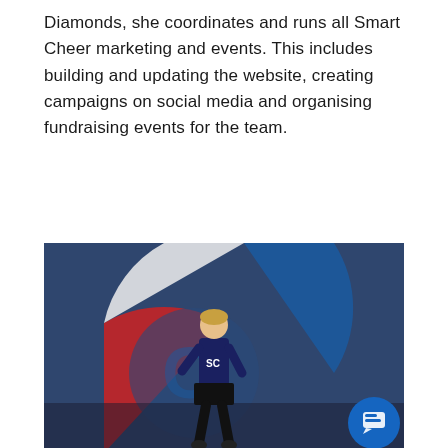Diamonds, she coordinates and runs all Smart Cheer marketing and events. This includes building and updating the website, creating campaigns on social media and organising fundraising events for the team.
Check Out Team Diamond >
[Figure (photo): A cheerleader wearing a blue and black uniform with 'SC' on the front, posing in front of a colorful backdrop featuring red, white, and blue circular logo elements. A chat widget popup overlays the top-right of the image with a user avatar, close button, and the message 'Welcome to Smart Cheer! How can we help?' and a blue circular chat button in the bottom right.]